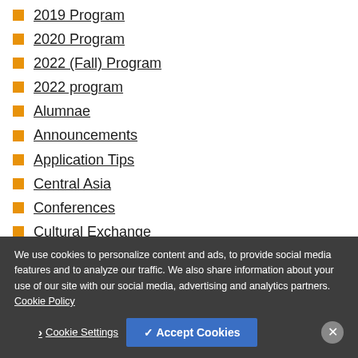2019 Program
2020 Program
2022 (Fall) Program
2022 program
Alumnae
Announcements
Application Tips
Central Asia
Conferences
Cultural Exchange
Delegation Trips
Emerging Leader Voices
We use cookies to personalize content and ads, to provide social media features and to analyze our traffic. We also share information about your use of our site with our social media, advertising and analytics partners. Cookie Policy
Cookie Settings | ✓ Accept Cookies